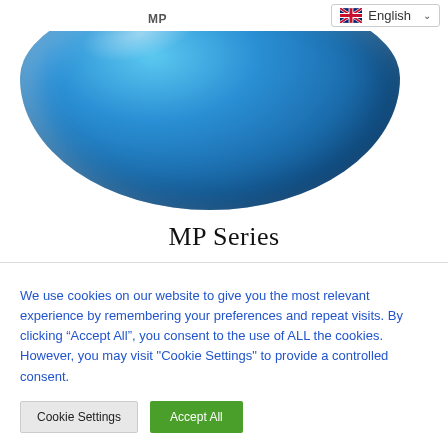[Figure (photo): A large blue spherical/dome-shaped object, shiny with light reflections, viewed from slightly above]
MP  English
MP Series
We use cookies on our website to give you the most relevant experience by remembering your preferences and repeat visits. By clicking “Accept All”, you consent to the use of ALL the cookies. However, you may visit "Cookie Settings" to provide a controlled consent.
Cookie Settings    Accept All